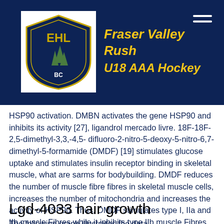Fraser Valley Rush U18 AAA Hockey
HSP90 activation. DMBN activates the gene HSP90 and inhibits its activity [27], ligandrol mercado livre. 18F-18F-2,5-dimethyl-3,3,-4,5- difluoro-2-nitro-5-deoxy-5-nitro-6,7-dimethyl-5-formamide (DMDF) [19] stimulates glucose uptake and stimulates insulin receptor binding in skeletal muscle, what are sarms for bodybuilding. DMDF reduces the number of muscle fibre fibres in skeletal muscle cells, increases the number of mitochondria and increases the activity of HSP90. Thus, DMDF stimulates type I, IIa and IIb muscle Fibres while it inhibits type IIb muscle Fibres [19], sarm yk11 results.
Lgd-4033 hair growth
The following graph illustrates the data